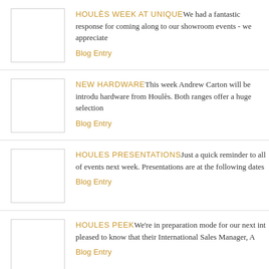HOULÈS WEEK AT UNIQUE We had a fantastic response for coming along to our showroom events - we appreciate
Blog Entry
NEW HARDWARE This week Andrew Carton will be introducing hardware from Houlès. Both ranges offer a huge selection
Blog Entry
HOULES PRESENTATIONS Just a quick reminder to all of events next week. Presentations are at the following dates
Blog Entry
HOULES PEEK We're in preparation mode for our next int pleased to know that their International Sales Manager, A
Blog Entry